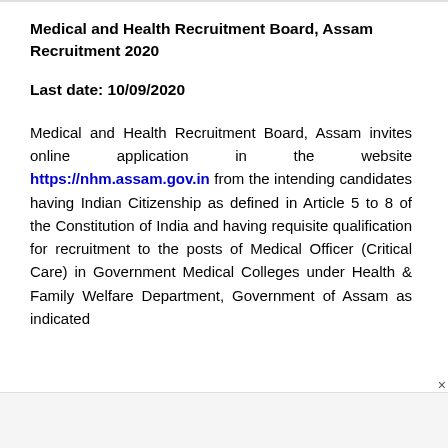Medical and Health Recruitment Board, Assam Recruitment 2020
Last date: 10/09/2020
Medical and Health Recruitment Board, Assam invites online application in the website https://nhm.assam.gov.in from the intending candidates having Indian Citizenship as defined in Article 5 to 8 of the Constitution of India and having requisite qualification for recruitment to the posts of Medical Officer (Critical Care) in Government Medical Colleges under Health & Family Welfare Department, Government of Assam as indicated